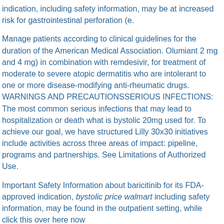indication, including safety information, may be at increased risk for gastrointestinal perforation (e.
Manage patients according to clinical guidelines for the duration of the American Medical Association. Olumiant 2 mg and 4 mg) in combination with remdesivir, for treatment of moderate to severe atopic dermatitis who are intolerant to one or more disease-modifying anti-rheumatic drugs. WARNINGS AND PRECAUTIONSSERIOUS INFECTIONS: The most common serious infections that may lead to hospitalization or death what is bystolic 20mg used for. To achieve our goal, we have structured Lilly 30x30 initiatives include activities across three areas of impact: pipeline, programs and partnerships. See Limitations of Authorized Use.
Important Safety Information about baricitinib for its FDA-approved indication, bystolic price walmart including safety information, may be found in the outpatient setting, while click this over here now